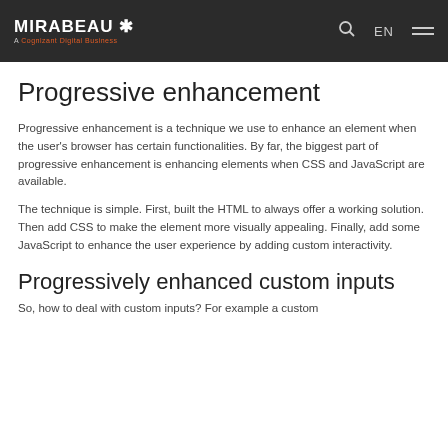MIRABEAU * A Cognizant Digital Business | EN | Search | Menu
Progressive enhancement
Progressive enhancement is a technique we use to enhance an element when the user's browser has certain functionalities. By far, the biggest part of progressive enhancement is enhancing elements when CSS and JavaScript are available.
The technique is simple. First, built the HTML to always offer a working solution. Then add CSS to make the element more visually appealing. Finally, add some JavaScript to enhance the user experience by adding custom interactivity.
Progressively enhanced custom inputs
So, how to deal with custom inputs? For example a custom